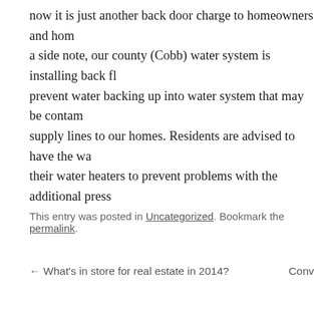now it is just another back door charge to homeowners and hom... a side note, our county (Cobb) water system is installing back fl... prevent water backing up into water system that may be contam... supply lines to our homes. Residents are advised to have the wa... their water heaters to prevent problems with the additional press...
This entry was posted in Uncategorized. Bookmark the permalink.
← What's in store for real estate in 2014?    Conv...